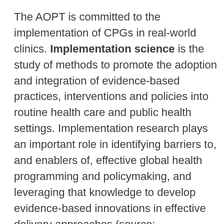The AOPT is committed to the implementation of CPGs in real-world clinics. Implementation science is the study of methods to promote the adoption and integration of evidence-based practices, interventions and policies into routine health care and public health settings. Implementation research plays an important role in identifying barriers to, and enablers of, effective global health programming and policymaking, and leveraging that knowledge to develop evidence-based innovations in effective delivery approaches (source: https://www.fic.nih.gov/researchtopics/pages/implem .To promote this effort, the AOPT co-sponsored the Implementation Science Institute and a Workshop focused on CPG implementation projects with the Center on Health Services Training and Research